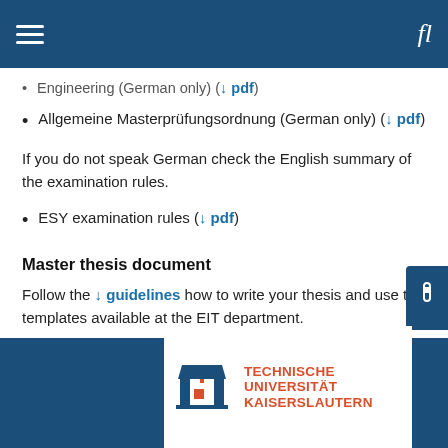Engineering (German only) (↓ pdf)
Allgemeine Masterprüfungsordnung (German only) (↓ pdf)
If you do not speak German check the English summary of the examination rules.
ESY examination rules (↓ pdf)
Master thesis document
Follow the ↓ guidelines how to write your thesis and use the templates available at the EIT department.
[Figure (logo): Technische Universität Kaiserslautern logo with red and blue TU icon and red text]